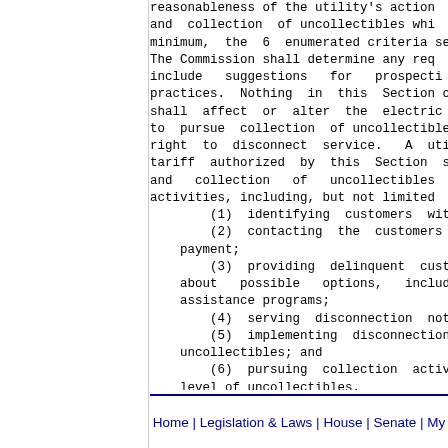reasonableness of the utility's action and collection of uncollectibles whi minimum, the 6 enumerated criteria se The Commission shall determine any req include suggestions for prospecti practices. Nothing in this Section or shall affect or alter the electric util to pursue collection of uncollectibles right to disconnect service. A utili tariff authorized by this Section sha and collection of uncollectibles activities, including, but not limited (1) identifying customers with (2) contacting the customers in payment; (3) providing delinquent custom about possible options, includi assistance programs; (4) serving disconnection notic (5) implementing disconnections uncollectibles; and (6) pursuing collection activit level of uncollectibles. (d) Nothing in this Section shall utility to immediately disconnect servi (Source: P.A. 96-33, eff. 7-10-09; 96-1
Home | Legislation & Laws | House | Senate | My